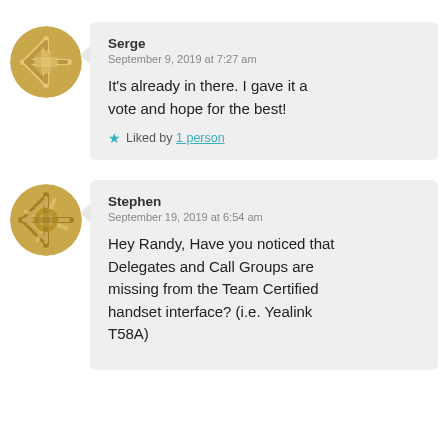Serge
September 9, 2019 at 7:27 am

It’s already in there. I gave it a vote and hope for the best!
★ Liked by 1 person
Stephen
September 19, 2019 at 6:54 am

Hey Randy, Have you noticed that Delegates and Call Groups are missing from the Team Certified handset interface? (i.e. Yealink T58A)